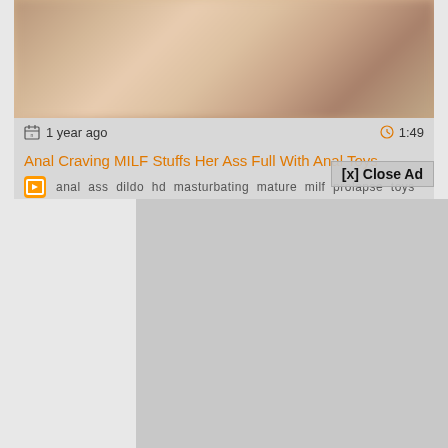[Figure (screenshot): Blurred video thumbnail showing flesh-toned blurred content]
1 year ago
1:49
Anal Craving MILF Stuffs Her Ass Full With Anal Toys
anal  ass  dildo  hd  masturbating  mature  milf  prolapse  toys
[x] Close Ad